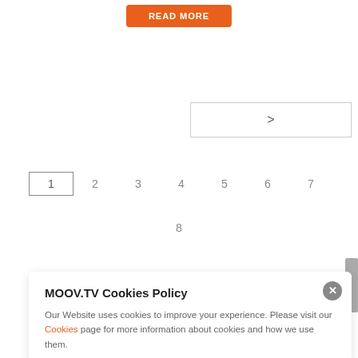[Figure (other): Orange 'READ MORE' button]
[Figure (other): Next page navigation arrow button ('>') with gray border]
1  2  3  4  5  6  7  8
MOOV.TV Cookies Policy
Our Website uses cookies to improve your experience. Please visit our Cookies page for more information about cookies and how we use them.